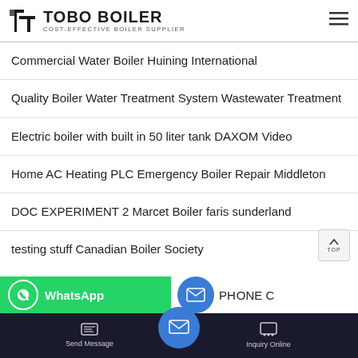TOBO BOILER — COST-EFFECTIVE BOILER SUPPLIER
Commercial Water Boiler Huining International
Quality Boiler Water Treatment System Wastewater Treatment
Electric boiler with built in 50 liter tank DAXOM Video
Home AC Heating PLC Emergency Boiler Repair Middleton
DOC EXPERIMENT 2 Marcet Boiler faris sunderland
testing stuff Canadian Boiler Society
[Figure (screenshot): WhatsApp contact bar and mobile bottom navigation with Send Message and Inquiry Online buttons]